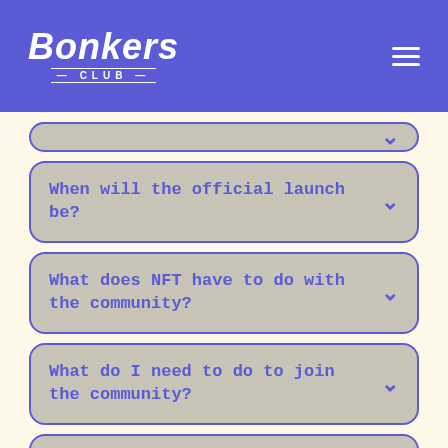Bonkers Club
When will the official launch be?
What does NFT have to do with the community?
What do I need to do to join the community?
Have another question?